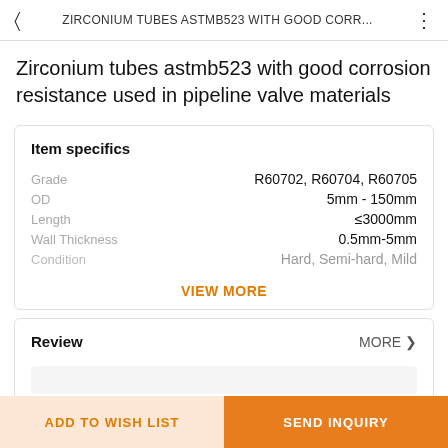ZIRCONIUM TUBES ASTMB523 WITH GOOD CORR...
Zirconium tubes astmb523 with good corrosion resistance used in pipeline valve materials
Item specifics
| Attribute | Value |
| --- | --- |
| Grade | R60702, R60704, R60705 |
| OD | 5mm - 150mm |
| Length | ≤3000mm |
| Wall Thickness | 0.5mm-5mm |
| Condition | Hard, Semi-hard, Mild |
VIEW MORE
Review
MORE ❯
ADD TO WISH LIST
SEND INQUIRY